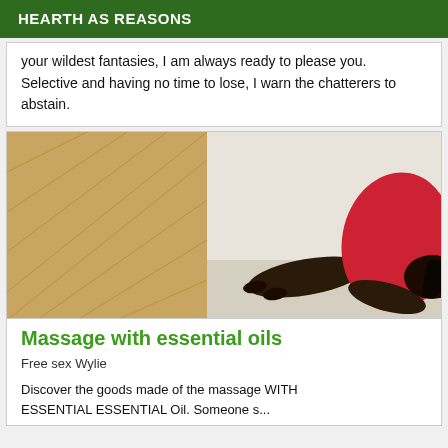HEARTH AS REASONS
your wildest fantasies, I am always ready to please you. Selective and having no time to lose, I warn the chatterers to abstain.
[Figure (photo): A person wearing a red dress lying on a parquet floor, photographed from above.]
Massage with essential oils
Free sex Wylie
Discover the goods made of the massage WITH ESSENTIAL ESSENTIAL Oil. Someone s...